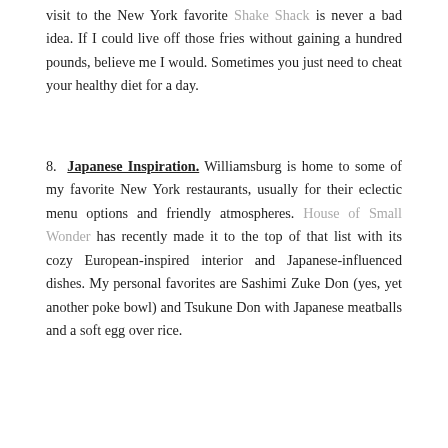visit to the New York favorite Shake Shack is never a bad idea. If I could live off those fries without gaining a hundred pounds, believe me I would. Sometimes you just need to cheat your healthy diet for a day.
8. Japanese Inspiration. Williamsburg is home to some of my favorite New York restaurants, usually for their eclectic menu options and friendly atmospheres. House of Small Wonder has recently made it to the top of that list with its cozy European-inspired interior and Japanese-influenced dishes. My personal favorites are Sashimi Zuke Don (yes, yet another poke bowl) and Tsukune Don with Japanese meatballs and a soft egg over rice.
36  DINING, FEATURED, FOOD REVIEW, LIFESTYLE, NYC EATS, ON THE TABLE
[Figure (photo): Four thumbnail images at bottom of page showing restaurant/food scenes]